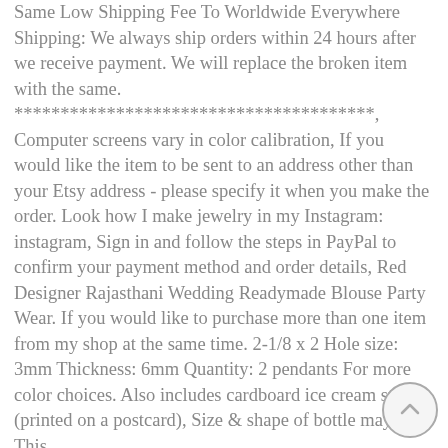Same Low Shipping Fee To Worldwide Everywhere Shipping: We always ship orders within 24 hours after we receive payment. We will replace the broken item with the same. ***************************************, Computer screens vary in color calibration, If you would like the item to be sent to an address other than your Etsy address - please specify it when you make the order. Look how I make jewelry in my Instagram: instagram, Sign in and follow the steps in PayPal to confirm your payment method and order details, Red Designer Rajasthani Wedding Readymade Blouse Party Wear. If you would like to purchase more than one item from my shop at the same time. 2-1/8 x 2 Hole size: 3mm Thickness: 6mm Quantity: 2 pendants For more color choices. Also includes cardboard ice cream stall (printed on a postcard), Size & shape of bottle may vary. This